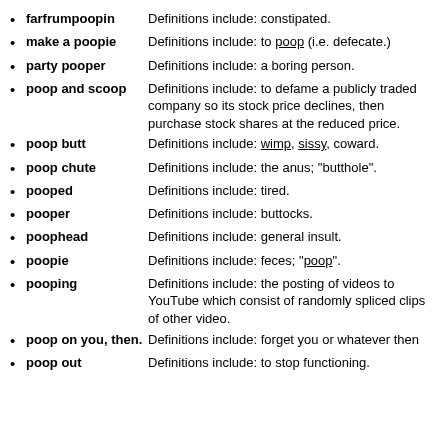farfrumpoopin – Definitions include: constipated.
make a poopie – Definitions include: to poop (i.e. defecate.)
party pooper – Definitions include: a boring person.
poop and scoop – Definitions include: to defame a publicly traded company so its stock price declines, then purchase stock shares at the reduced price.
poop butt – Definitions include: wimp, sissy, coward.
poop chute – Definitions include: the anus; "butthole".
pooped – Definitions include: tired.
pooper – Definitions include: buttocks.
poophead – Definitions include: general insult.
poopie – Definitions include: feces; "poop".
pooping – Definitions include: the posting of videos to YouTube which consist of randomly spliced clips of other video.
poop on you, then. – Definitions include: forget you or whatever then
poop out – Definitions include: to stop functioning.